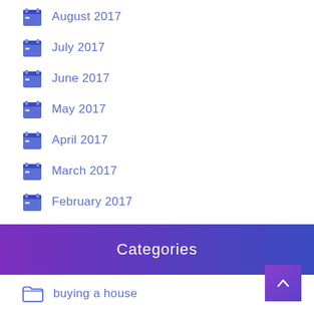August 2017
July 2017
June 2017
May 2017
April 2017
March 2017
February 2017
Categories
buying a house
commercial real estate